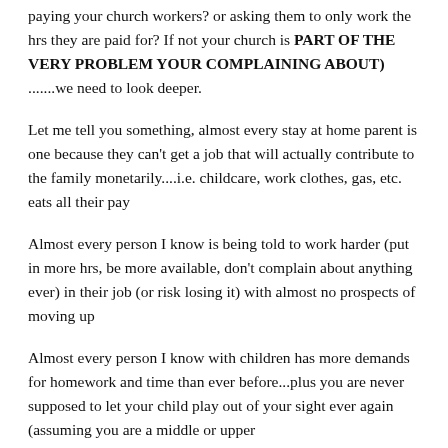paying your church workers? or asking them to only work the hrs they are paid for? If not your church is PART OF THE VERY PROBLEM YOUR COMPLAINING ABOUT) .......we need to look deeper.
Let me tell you something, almost every stay at home parent is one because they can't get a job that will actually contribute to the family monetarily....i.e. childcare, work clothes, gas, etc. eats all their pay
Almost every person I know is being told to work harder (put in more hrs, be more available, don't complain about anything ever) in their job (or risk losing it) with almost no prospects of moving up
Almost every person I know with children has more demands for homework and time than ever before...plus you are never supposed to let your child play out of your sight ever again (assuming you are a middle or upper